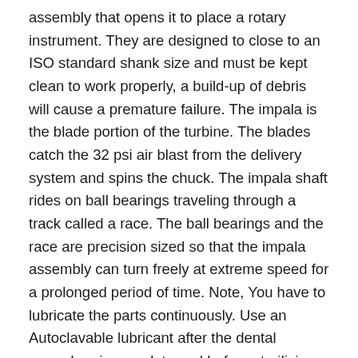assembly that opens it to place a rotary instrument. They are designed to close to an ISO standard shank size and must be kept clean to work properly, a build-up of debris will cause a premature failure. The impala is the blade portion of the turbine. The blades catch the 32 psi air blast from the delivery system and spins the chuck. The impala shaft rides on ball bearings traveling through a track called a race. The ball bearings and the race are precision sized so that the impala assembly can turn freely at extreme speed for a prolonged period of time. Note, You have to lubricate the parts continuously. Use an Autoclavable lubricant after the dental procedure is complete and before sterilizing. The lubricant will protect the internal seals form the sterilizer's excessive heat. That statement contradicts some older methods, however, just like your bonding agents evolve, so does synthetic lubrication. By using a